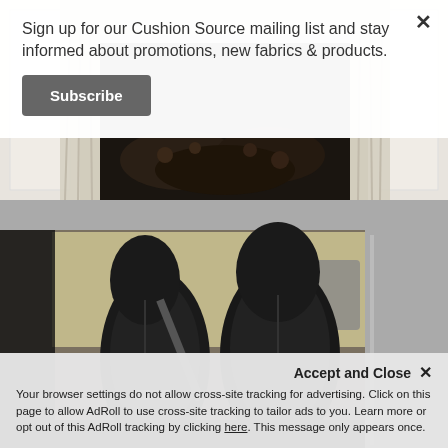[Figure (photo): Top photo showing interior room with white paneling, curtains, and dark floral cushions or bedding visible]
[Figure (photo): Bottom photo showing interior of a vehicle with black leather car seat visible through open door]
Sign up for our Cushion Source mailing list and stay informed about promotions, new fabrics & products.
Subscribe
Accept and Close ✕
Your browser settings do not allow cross-site tracking for advertising. Click on this page to allow AdRoll to use cross-site tracking to tailor ads to you. Learn more or opt out of this AdRoll tracking by clicking here. This message only appears once.